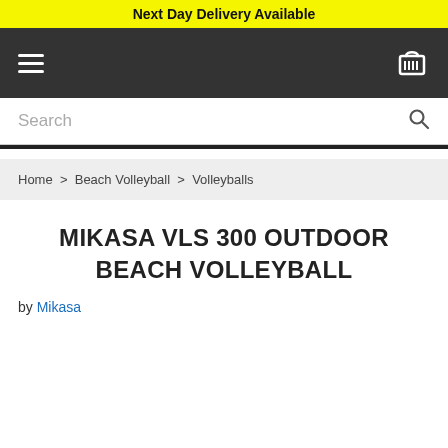Next Day Delivery Available
Search
Home > Beach Volleyball > Volleyballs
MIKASA VLS 300 OUTDOOR BEACH VOLLEYBALL
by Mikasa